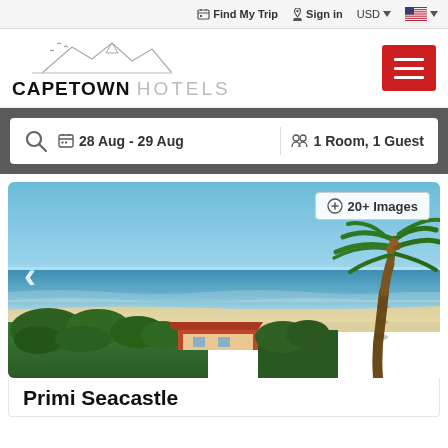Find My Trip  Sign in  USD  [US Flag]
[Figure (logo): Cape Town Hotels logo with mountain silhouette illustration above the text CAPETOWN HOTELS]
28 Aug - 29 Aug  1 Room, 1 Guest
[Figure (photo): Coastal view from elevated position showing blue ocean, white sandy beach, palm tree on the right, and red-roofed buildings with green trees in the foreground. Clear blue sky. Badge reads 20+ Images.]
Primi Seacastle